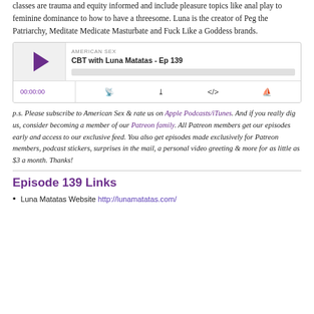classes are trauma and equity informed and include pleasure topics like anal play to feminine dominance to how to have a threesome. Luna is the creator of Peg the Patriarchy, Meditate Medicate Masturbate and Fuck Like a Goddess brands.
[Figure (screenshot): Podcast player widget for American Sex episode 'CBT with Luna Matatas - Ep 139', showing play button, episode info, progress bar, time 00:00:00, and control icons for cast, download, embed, and Overcast.]
p.s. Please subscribe to American Sex & rate us on Apple Podcasts/iTunes. And if you really dig us, consider becoming a member of our Patreon family. All Patreon members get our episodes early and access to our exclusive feed. You also get episodes made exclusively for Patreon members, podcast stickers, surprises in the mail, a personal video greeting & more for as little as $3 a month. Thanks!
Episode 139 Links
Luna Matatas Website http://lunamatatas.com/